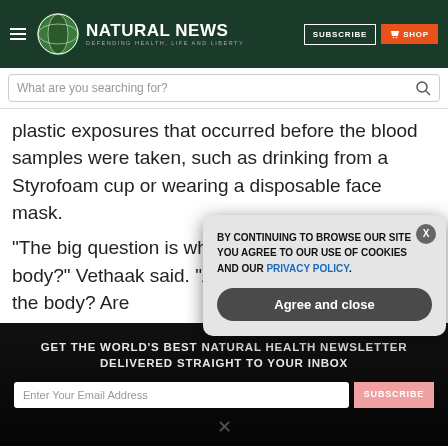NATURAL NEWS — DEFENDING HEALTH, LIFE AND LIBERTY
plastic exposures that occurred before the blood samples were taken, such as drinking from a Styrofoam cup or wearing a disposable face mask.
"The big question is what is happening in our body?" Vethaak said. "Are the particles retained in the body? Are
GET THE WORLD'S BEST NATURAL HEALTH NEWSLETTER DELIVERED STRAIGHT TO YOUR INBOX
BY CONTINUING TO BROWSE OUR SITE YOU AGREE TO OUR USE OF COOKIES AND OUR PRIVACY POLICY.
Agree and close